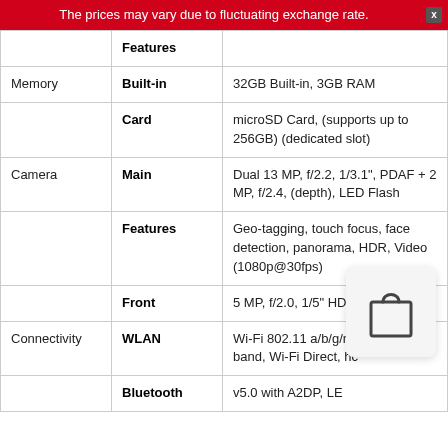The prices may vary due to fluctuating exchange rate.
|  | Features |  |
| --- | --- | --- |
| Memory | Built-in | 32GB Built-in, 3GB RAM |
|  | Card | microSD Card, (supports up to 256GB) (dedicated slot) |
| Camera | Main | Dual 13 MP, f/2.2, 1/3.1", PDAF + 2 MP, f/2.4, (depth), LED Flash |
|  | Features | Geo-tagging, touch focus, face detection, panorama, HDR, Video (1080p@30fps) |
|  | Front | 5 MP, f/2.0, 1/5" HDR |
| Connectivity | WLAN | Wi-Fi 802.11 a/b/g/n... band, Wi-Fi Direct, hc... |
|  | Bluetooth | v5.0 with A2DP, LE |